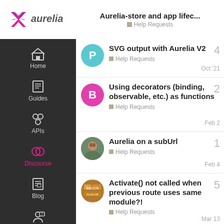Aurelia-store and app lifec... | Help Requests
SVG output with Aurelia V2 | Help Requests | Oct '21 | 4
Using decorators (binding, observable, etc.) as functions | Help Requests | Feb 2 | 2
Aurelia on a subUrl | Help Requests | Feb 4 | 1
Activate() not called when previous route uses same module?! | Help Requests | Mar 13 | 5
Want to read more? Browse other